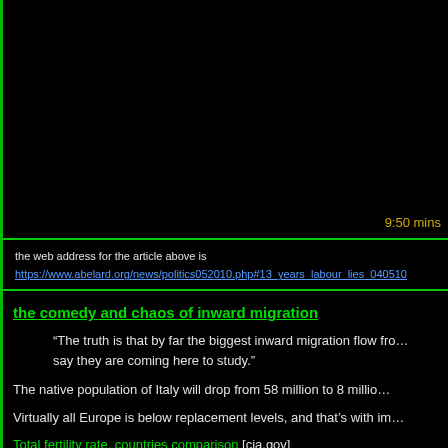9:50 mins
the web address for the article above is
https://www.abelard.org/news/politics052010.php#13_years_labour_lies_040510
the comedy and chaos of inward migration
“The truth is that by far the biggest inward migration flow from say they are coming here to study.”
The native population of Italy will drop from 58 million to 8 million
Virtually all Europe is below replacement levels, and that’s with im
Total fertility rate, countries comparison [cia.gov]